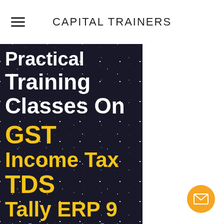CAPITAL TRAINERS
[Figure (illustration): Dark starfield background image with white bold text 'Practical Training Classes On' and yellow bold text 'GST Income Tax TDS Tally ERP 9 Adv Excel' and white text 'Capital Trainers' at the bottom]
[Figure (other): Orange circular email/envelope button in the bottom right corner]